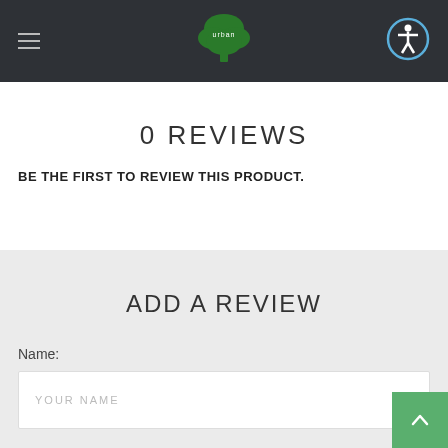[Figure (logo): Urban brand logo with green tree/leaf icon and 'urban' text in white on dark header background]
0 REVIEWS
BE THE FIRST TO REVIEW THIS PRODUCT.
ADD A REVIEW
Name:
YOUR NAME